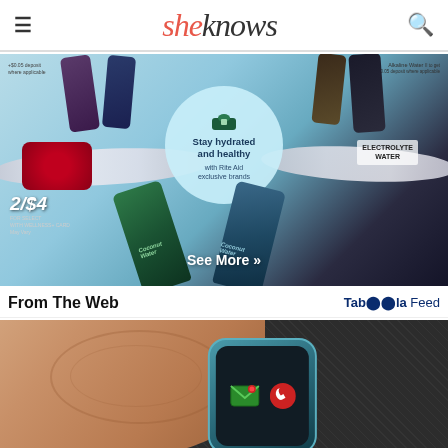sheknows
[Figure (photo): Rite Aid advertisement showing water bottles and coconut water products with text 'Stay hydrated and healthy with Rite Aid exclusive brands', price overlay '2/$4', and 'See More »' button]
From The Web
Taboola Feed
[Figure (photo): Close-up photo of a finger touching a smartwatch with messaging and phone call icons visible on the watch screen, against a dark textile background]